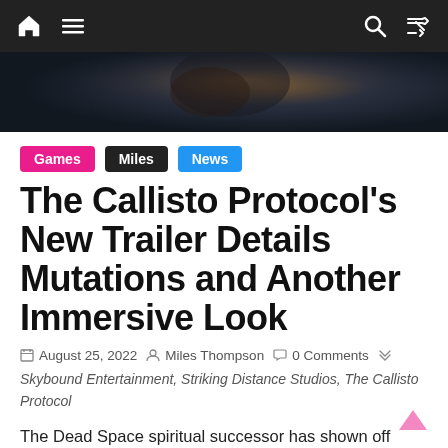Navigation bar with home, menu, search, and shuffle icons
[Figure (photo): Hero image showing a dark sci-fi creature/character from The Callisto Protocol game, with dark blue and brown tones]
Games
Miles
News
The Callisto Protocol's New Trailer Details Mutations and Another Immersive Look
August 25, 2022   Miles Thompson   0 Comments
Skybound Entertainment, Striking Distance Studios, The Callisto Protocol
The Dead Space spiritual successor has shown off more of its dismembered limbs. Check out the latest trailer and screenshots right here.